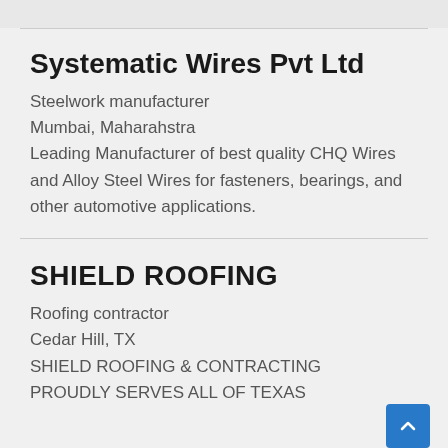Systematic Wires Pvt Ltd
Steelwork manufacturer
Mumbai, Maharahstra
Leading Manufacturer of best quality CHQ Wires and Alloy Steel Wires for fasteners, bearings, and other automotive applications.
SHIELD ROOFING
Roofing contractor
Cedar Hill, TX
SHIELD ROOFING & CONTRACTING
PROUDLY SERVES ALL OF TEXAS